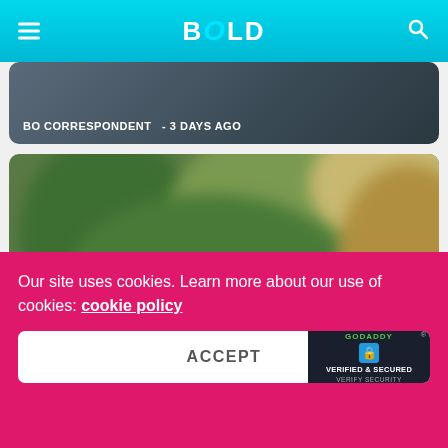BOLD — navigation header with menu and search icons
BO CORRESPONDENT  - 3 DAYS AGO
[Figure (photo): Blurred outdoor festival/event photo showing green foliage and warm tones, with headline overlay: Celebrate The Festival Of Joy And Celebration At The Den Bengaluru]
Celebrate The Festival Of Joy And Celebration At The Den Bengaluru
Our site uses cookies. Learn more about our use of cookies: cookie policy
ACCEPT